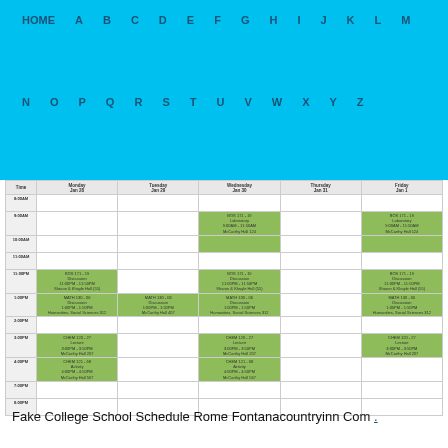HOME A B C D E F G H I J K L M N O P Q R S T U V W X Y Z
| Time | Monday Jan 28 | Tuesday Jan 29 | Wednesday Jan 30 | Thursday Jan 31 | Friday Jan 1 |
| --- | --- | --- | --- | --- | --- |
| 8:00AM |  |  |  |  |  |
| 9:00AM |  |  | BOS 171-19 Laboratory 9:00AM-11:50AM McCarthy Hall 124 |  | BOS 171-19 Laboratory 9:00AM-11:50AM McCarthy Hall 124 |
| 10:00AM |  |  |  |  |  |
| 11:00AM |  |  |  |  |  |
| 11:00PM | BOS 171-19 Discussion 11:00PM-11:50PM Sharon & Khayle Hall 155 |  | BOS 171-19 Discussion 11:00PM-11:50PM Sharon & Khayle Hall 155 |  | BOS 171-19 Discussion 11:00PM-11:50PM Sharon & Khayle Hall 155 |
| 1:00PM | MATH 130-06 Discussion 1:00PM-1:50PM Humanities Social Sciences 312 | MATH 130-06 Discussion 1:00PM-1:50PM McCarthy Hall 407 | MATH 130-06 Discussion 1:00PM-1:50PM Humanities Social Sciences 312 |  | MATH 130-06 Discussion 1:00PM-1:50PM Humanities Social Sciences 312 |
| 2:00PM |  |  |  |  |  |
| 3:00PM | CHEM 120-27 Lecture 3:00PM-3:50PM McCarthy Hall 207 |  | CHEM 120-27 Lecture 3:00PM-3:50PM McCarthy Hall 207 |  | CHEM 120-27 Lecture 3:00PM-3:50PM McCarthy Hall 207 |
| 4:00PM | CHEM 121-68 Activity 4:00PM-4:50PM McCarthy Hall 567 |  | CHEM 121-68 Activity 4:00PM-4:50PM McCarthy Hall 567 |  |  |
| 7:00PM |  |  |  |  |  |
| 8:00PM |  |  |  |  |  |
Fake College School Schedule Rome Fontanacountryinn Com .